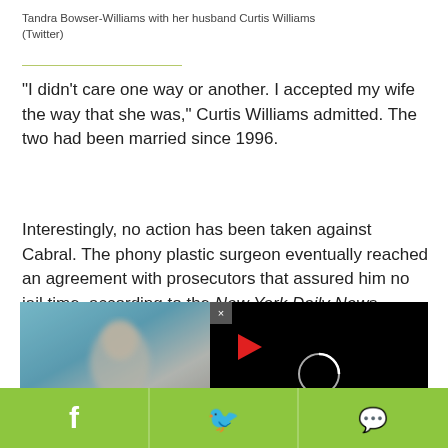Tandra Bowser-Williams with her husband Curtis Williams
(Twitter)
"I didn't care one way or another. I accepted my wife the way that she was," Curtis Williams admitted. The two had been married since 1996.
Interestingly, no action has been taken against Cabral. The phony plastic surgeon eventually reached an agreement with prosecutors that assured him no jail time, according to the New York Daily News.
[Figure (screenshot): Left side shows a blurred photo of a person against a blue background. Right side shows a black video player overlay with a red play button arrow and a loading spinner circle, with a close (x) button at top left of overlay.]
[Figure (infographic): Green share bar at bottom with Facebook (f), Twitter (bird), and WhatsApp icons.]